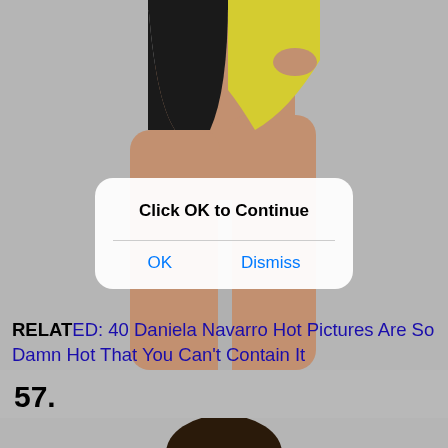[Figure (photo): Top portion of a person in a yellow and black bikini bottom, showing torso and legs against gray background]
[Figure (screenshot): iOS-style modal dialog with title 'Click OK to Continue' and two buttons: OK and Dismiss]
RELATED: 40 Daniela Navarro Hot Pictures Are So Damn Hot That You Can't Contain It
57.
[Figure (photo): Top of a person's head with dark hair against gray background]